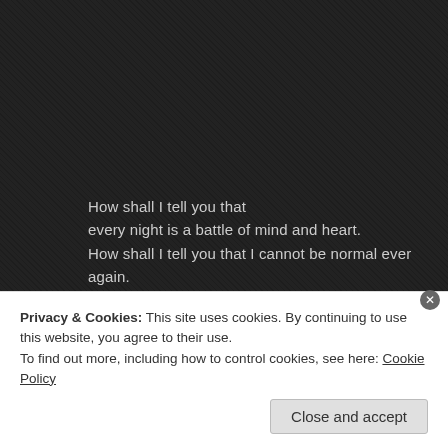How shall I tell you that
every night is a battle of mind and heart.
How shall I tell you that I cannot be normal ever again.
How do I tell you I can never go back home
for your memories haunt me in those roads, those parks,
those hills those rivers. How shall I explain
you that I still haven't moved on.

Munchkin how do I tell you,
how I miss you every day,
how shall I tell you that I forgive you,
How do I plead with you to come back.
Privacy & Cookies: This site uses cookies. By continuing to use this website, you agree to their use.
To find out more, including how to control cookies, see here: Cookie Policy
Close and accept